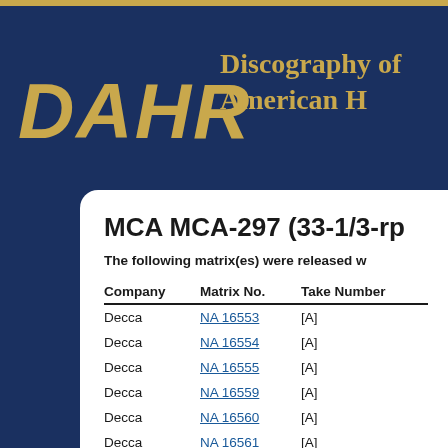DAHR Discography of American Historical Recordings
MCA MCA-297 (33-1/3-rpm)
The following matrix(es) were released with this issue:
| Company | Matrix No. | Take Number |
| --- | --- | --- |
| Decca | NA 16553 | [A] |
| Decca | NA 16554 | [A] |
| Decca | NA 16555 | [A] |
| Decca | NA 16559 | [A] |
| Decca | NA 16560 | [A] |
| Decca | NA 16561 | [A] |
| Decca | NA 16562 | [A] |